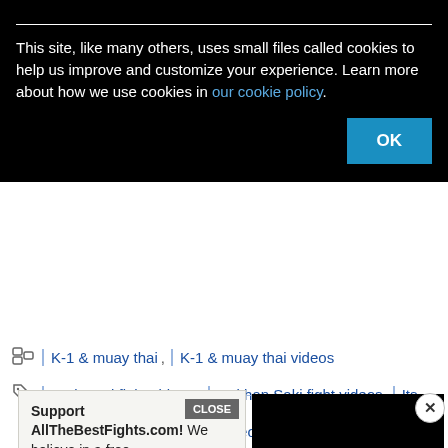This site, like many others, uses small files called cookies to help us improve and customize your experience. Learn more about how we use cookies in our cookie policy.
OK
K-1 & muay thai , K-1 & muay thai videos
Badr Hari fight videos , Gokhan Saki fight videos , Its
Showtime 55 , K-1 fight videos
[Figure (screenshot): Black video player popup with circular loading spinner and close button (X)]
Support AllTheBestFights.com! We believe in a free, open and decentralized internet.
CLOSE
Donate with Crypto!
Donate with PayPal
or